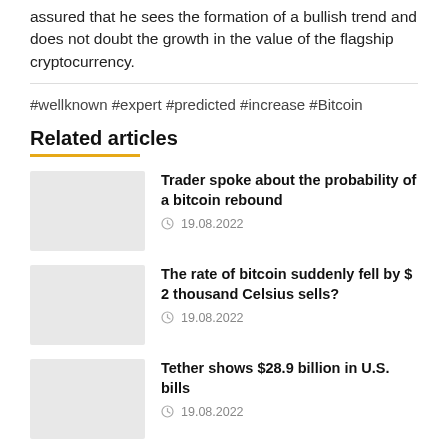assured that he sees the formation of a bullish trend and does not doubt the growth in the value of the flagship cryptocurrency.
#wellknown #expert #predicted #increase #Bitcoin
Related articles
Trader spoke about the probability of a bitcoin rebound
19.08.2022
The rate of bitcoin suddenly fell by $ 2 thousand Celsius sells?
19.08.2022
Tether shows $28.9 billion in U.S. bills
19.08.2022